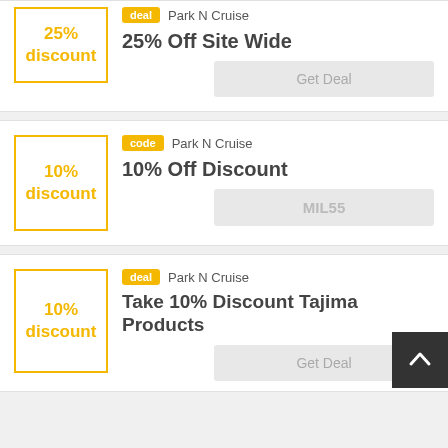[Figure (other): Coupon card: 25% discount box with 'deal' badge, Park N Cruise, 25% Off Site Wide, Get Deal button]
[Figure (other): Coupon card: 10% discount box with 'code' badge, Park N Cruise, 10% Off Discount, code MIL55]
[Figure (other): Coupon card: 10% discount box with 'deal' badge, Park N Cruise, Take 10% Discount Tajima Products, Get Deal button]